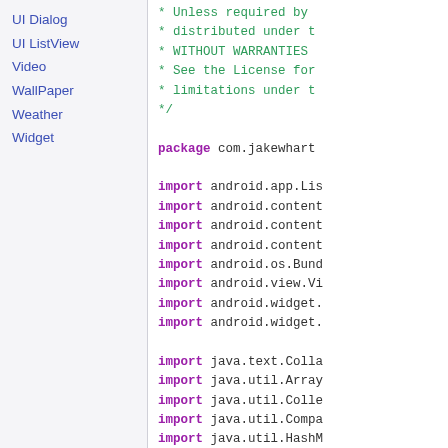UI Dialog
UI ListView
Video
WallPaper
Weather
Widget
* Unless required by
* distributed under t
* WITHOUT WARRANTIES
* See the License for
* limitations under t
*/

package com.jakewhart

import android.app.Li
import android.content
import android.content
import android.content
import android.os.Bund
import android.view.Vi
import android.widget.
import android.widget.

import java.text.Colla
import java.util.Array
import java.util.Colle
import java.util.Compa
import java.util.HashM
import java.util.List;